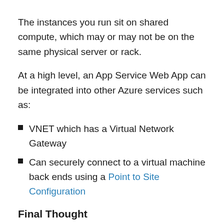The instances you run sit on shared compute, which may or may not be on the same physical server or rack.
At a high level, an App Service Web App can be integrated into other Azure services such as:
VNET which has a Virtual Network Gateway
Can securely connect to a virtual machine back ends using a Point to Site Configuration
Final Thought
Depending on the requirements of the application and the business will determine if your App Service Web App should run on a standard PaaS tier or within an App Service Environment.
It should be noted that even though an App Service Web